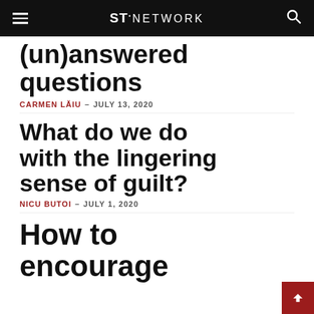ST. NETWORK
(un)answered questions
CARMEN LĂIU – JULY 13, 2020
What do we do with the lingering sense of guilt?
NICU BUTOI – JULY 1, 2020
How to encourage